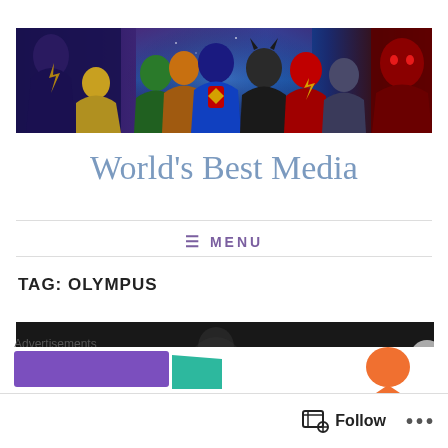[Figure (illustration): Banner image showing DC Comics superheroes including Superman, Batman, Wonder Woman, Green Lantern, The Flash, Cyborg, and others against a cosmic/space background with villains on the sides]
World’s Best Media
≡ MENU
TAG: OLYMPUS
[Figure (screenshot): Partial dark-background content preview image, partially obscured]
Advertisements
[Figure (illustration): Advertisement banner with purple, green, and orange colored blocks]
Follow